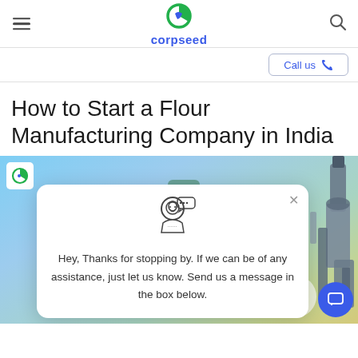corpseed
Call us
How to Start a Flour Manufacturing Company in India
[Figure (screenshot): Hero banner image with light blue and green gradient background showing a flour manufacturing machinery illustration on the right, a corpseed logo badge on the top left, and a chat popup overlay in the center with the message: Hey, Thanks for stopping by. If we can be of any assistance, just let us know. Send us a message in the box below.]
Hey, Thanks for stopping by. If we can be of any assistance, just let us know. Send us a message in the box below.